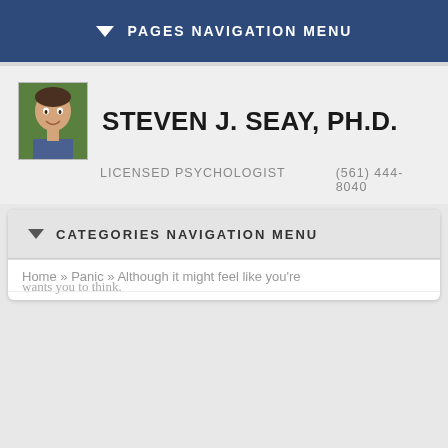PAGES NAVIGATION MENU
STEVEN J. SEAY, PH.D.
LICENSED PSYCHOLOGIST   (561) 444-8040
CATEGORIES NAVIGATION MENU
Home » Panic » Although it might feel like you're
dying, you're not. That's just what the panic wants you to think.
Although it might feel like you're dying, you're not. That's just what the panic wants you to